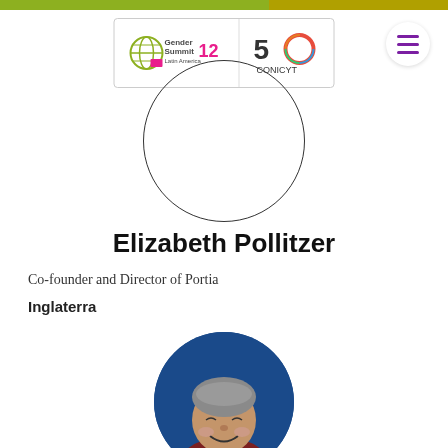[Figure (logo): Gender Summit 12 Latin America logo and CONICYT 50th anniversary logo side by side in a white box]
[Figure (illustration): Thin circular outline for profile photo placeholder]
Elizabeth Pollitzer
Co-founder and Director of Portia
Inglaterra
[Figure (photo): Circular headshot photo of Elizabeth Pollitzer, a woman with short grey hair, smiling, wearing a dark red jacket, against a blue background]